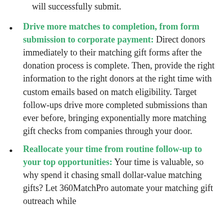will successfully submit.
Drive more matches to completion, from form submission to corporate payment: Direct donors immediately to their matching gift forms after the donation process is complete. Then, provide the right information to the right donors at the right time with custom emails based on match eligibility. Target follow-ups drive more completed submissions than ever before, bringing exponentially more matching gift checks from companies through your door.
Reallocate your time from routine follow-up to your top opportunities: Your time is valuable, so why spend it chasing small dollar-value matching gifts? Let 360MatchPro automate your matching gift outreach while freeing up higher-level opportunities.